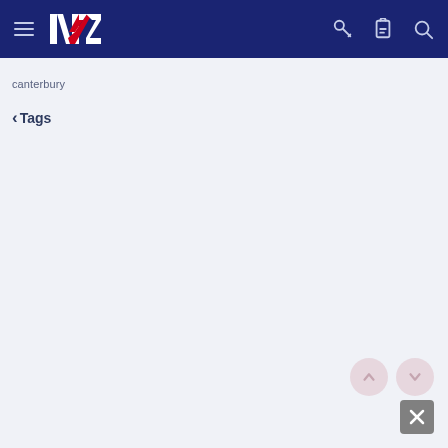NVZ Government Navigation Header
canterbury
< Tags